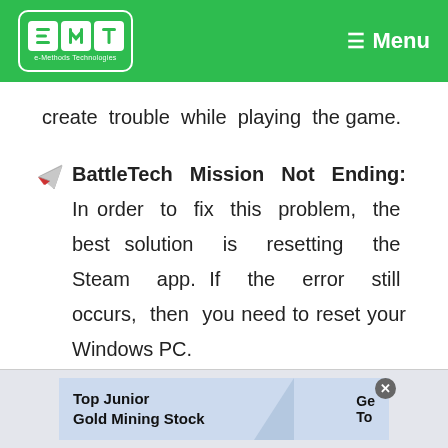e-Methods Technologies | Menu
create trouble while playing the game.
BattleTech Mission Not Ending: In order to fix this problem, the best solution is resetting the Steam app. If the error still occurs, then you need to reset your Windows PC.
[Figure (infographic): Advertisement banner: Top Junior Gold Mining Stock with decorative triangle graphic and partial text 'Ge' and 'To']